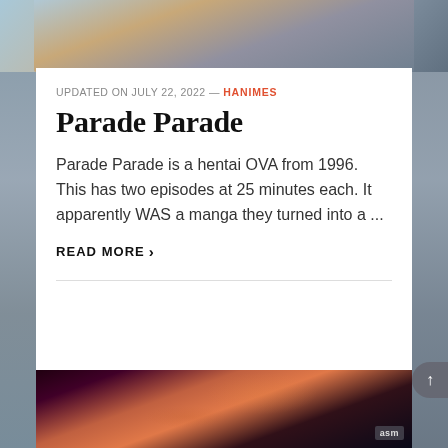[Figure (photo): Top portion of an anime/hentai scene visible at top of page, cropped]
UPDATED ON JULY 22, 2022 — HANIMES
Parade Parade
Parade Parade is a hentai OVA from 1996. This has two episodes at 25 minutes each. It apparently WAS a manga they turned into a ...
READ MORE ›
[Figure (photo): Bottom anime/hentai cover art image with tentacle scene and ASM logo badge]